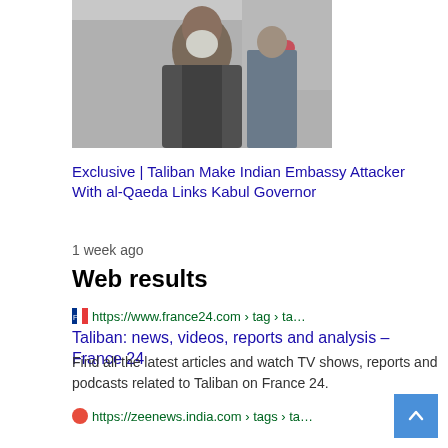[Figure (photo): Photo of a bearded man speaking at a podium with flowers and a flag in the background]
Exclusive | Taliban Make Indian Embassy Attacker With al-Qaeda Links Kabul Governor
1 week ago
Web results
https://www.france24.com › tag › ta…
Taliban: news, videos, reports and analysis – France 24
Find all the latest articles and watch TV shows, reports and podcasts related to Taliban on France 24.
https://zeenews.india.com › tags › ta…
Taliban News
Zee News brings latest news from India and World on breaking news, today news headlines, politics, business, technology, bollywood, entertainment, …